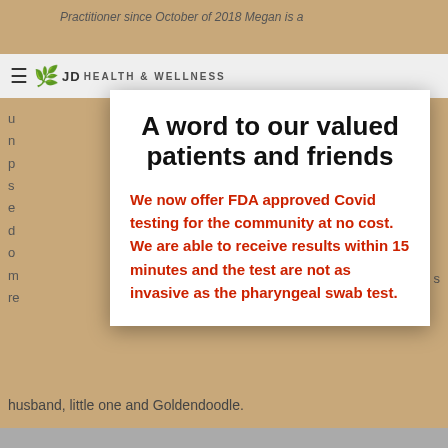Practitioner since October of 2018 Megan is a
[Figure (logo): JD Health & Wellness logo with leaf/hands icon and navigation hamburger menu]
A word to our valued patients and friends
We now offer FDA approved Covid testing for the community at no cost. We are able to receive results within 15 minutes and the test are not as invasive as the pharyngeal swab test.
husband, little one and Goldendoodle.